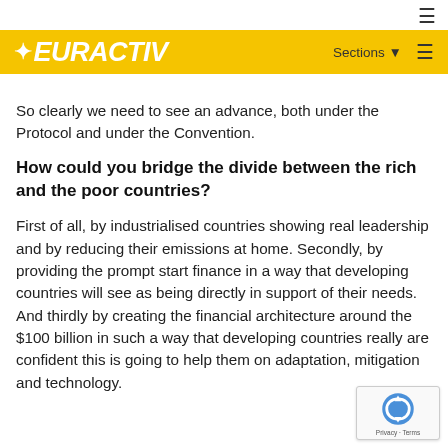EURACTIV | Sections ≡
So clearly we need to see an advance, both under the Protocol and under the Convention.
How could you bridge the divide between the rich and the poor countries?
First of all, by industrialised countries showing real leadership and by reducing their emissions at home. Secondly, by providing the prompt start finance in a way that developing countries will see as being directly in support of their needs. And thirdly by creating the financial architecture around the $100 billion in such a way that developing countries really are confident this is going to help them on adaptation, mitigation and technology.